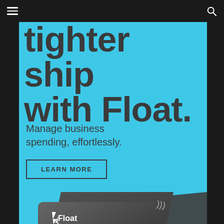Navigation bar with hamburger menu and search icon
tighter ship with Float.
Manage business spending, effortlessly.
LEARN MORE
[Figure (illustration): Two Float-branded dark grey credit/debit cards displayed at angles on a cyan/teal background. The front card shows the Float logo (lightning bolt icon) and name, an EMV chip, and a contactless payment symbol.]